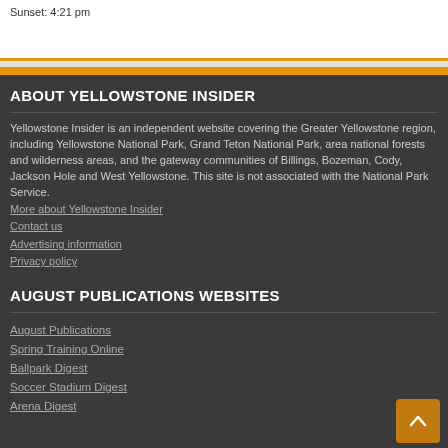Sunset: 4:21 pm
ABOUT YELLOWSTONE INSIDER
Yellowstone Insider is an independent website covering the Greater Yellowstone region, including Yellowstone National Park, Grand Teton National Park, area national forests and wilderness areas, and the gateway communities of Billings, Bozeman, Cody, Jackson Hole and West Yellowstone. This site is not associated with the National Park Service.
More about Yellowstone Insider
Contact us
Advertising information
Privacy policy
AUGUST PUBLICATIONS WEBSITES
August Publications
Spring Training Online
Ballpark Digest
Soccer Stadium Digest
Arena Digest